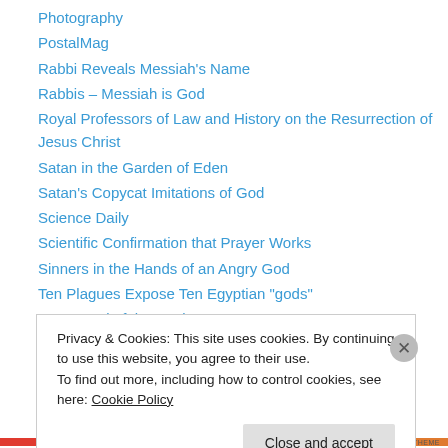Photography
PostalMag
Rabbi Reveals Messiah's Name
Rabbis – Messiah is God
Royal Professors of Law and History on the Resurrection of Jesus Christ
Satan in the Garden of Eden
Satan's Copycat Imitations of God
Science Daily
Scientific Confirmation that Prayer Works
Sinners in the Hands of an Angry God
Ten Plagues Expose Ten Egyptian "gods"
THE Angel of the Lord
Privacy & Cookies: This site uses cookies. By continuing to use this website, you agree to their use. To find out more, including how to control cookies, see here: Cookie Policy
Close and accept